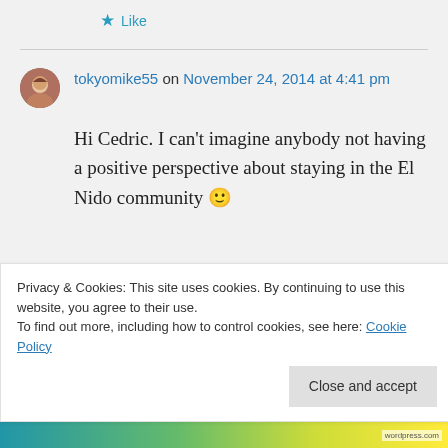★ Like
tokyomike55 on November 24, 2014 at 4:41 pm
Hi Cedric. I can't imagine anybody not having a positive perspective about staying in the El Nido community 🙂
Privacy & Cookies: This site uses cookies. By continuing to use this website, you agree to their use.
To find out more, including how to control cookies, see here: Cookie Policy
Close and accept